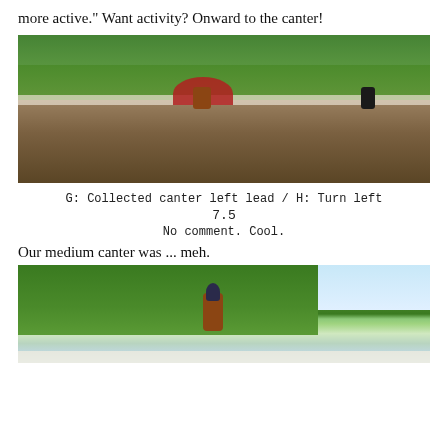more active." Want activity? Onward to the canter!
[Figure (photo): Wide-angle photo of a dressage arena from ground level. Red canopy/tent visible in mid-distance with a chestnut horse and rider, and a black horse further right. Large trees line the arena, sandy footing fills the foreground.]
G: Collected canter left lead / H: Turn left
7.5
No comment. Cool.
Our medium canter was ... meh.
[Figure (photo): Photo of a rider on a chestnut horse cantering in an outdoor dressage arena. Trees fill the background on the left, blue sky visible on the right. White arena fence visible at the bottom.]